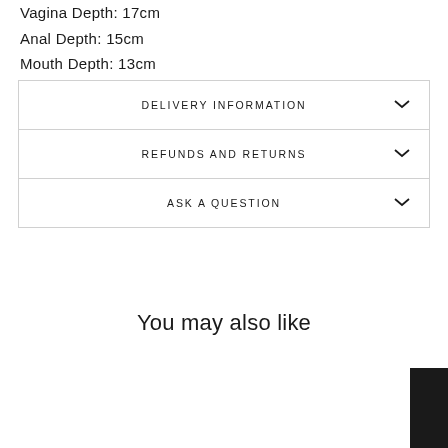Vagina Depth: 17cm
Anal Depth: 15cm
Mouth Depth: 13cm
DELIVERY INFORMATION
REFUNDS AND RETURNS
ASK A QUESTION
You may also like